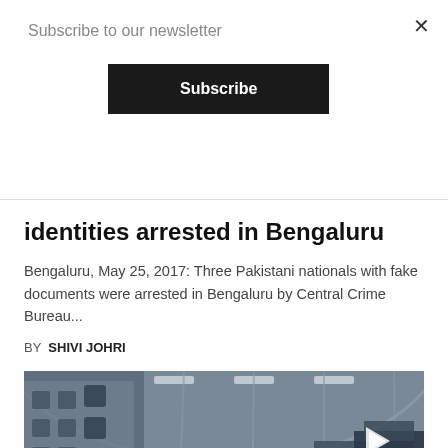Subscribe to our newsletter
Subscribe
identities arrested in Bengaluru
Bengaluru, May 25, 2017: Three Pakistani nationals with fake documents were arrested in Bengaluru by Central Crime Bureau...
BY SHIVI JOHRI
[Figure (photo): Interior of a military cargo aircraft with people loading equipment. A play button overlay is visible on the right side of the image.]